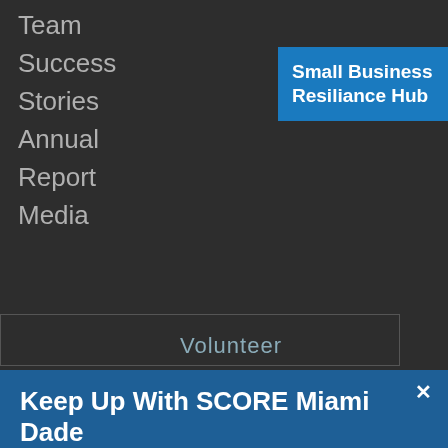Team
Success
Stories
Annual
Report
Media
[Figure (screenshot): Blue badge button for Small Business Resiliance Hub]
Keep Up With SCORE Miami Dade
Join our list and stay up-to-date with our live webinars designed to help you start and grow a successful business.
email address | SUBMIT
Volunteer
Volunteer Login | Website Policy | Credits
Copyright © 2022 SCORE Association, www.score.org